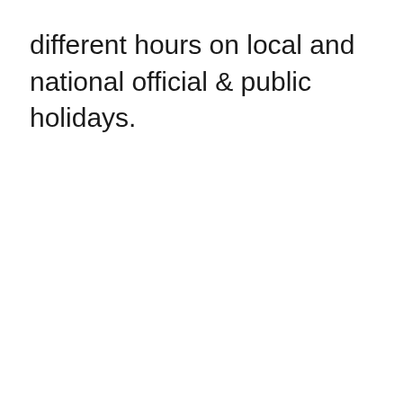different hours on local and national official & public holidays.